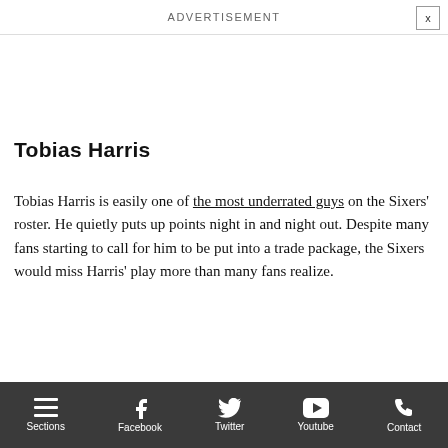ADVERTISEMENT
Joel Embiid, and now it's also about Tobias Harris' play.
Tobias Harris
Tobias Harris is easily one of the most underrated guys on the Sixers' roster. He quietly puts up points night in and night out. Despite many fans starting to call for him to be put into a trade package, the Sixers would miss Harris' play more than many fans realize.
[Figure (photo): Advertisement image showing a kitchen/home interior with a 'We've Been Nominated - Philly's Best 2022' green badge overlay]
Sections | Facebook | Twitter | Youtube | Contact